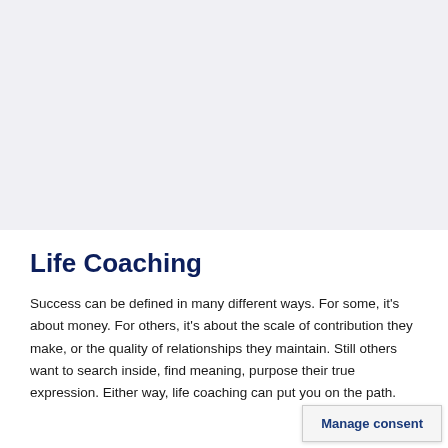[Figure (photo): Large gray placeholder image area at the top of the page]
Life Coaching
Success can be defined in many different ways. For some, it's about money. For others, it's about the scale of contribution they make, or the quality of relationships they maintain. Still others want to search inside, find meaning, purpose their true expression. Either way, life coaching can put you on the path.